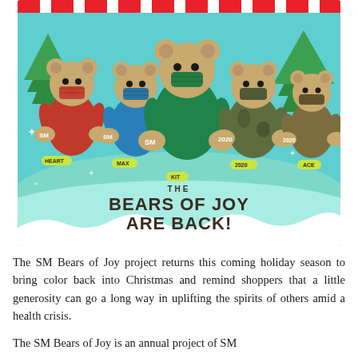[Figure (photo): Promotional image showing four teddy bears wearing face masks in different colored outfits (red, blue, green scrubs, camouflage). Each bear has 'SM' or '2020' on its paw. Name labels below read HEART, MAX, KIT, 2020, ACE. A teal/mint colored background with snowflake decorations and Christmas trees. Title text reads 'THE BEARS OF JOY ARE BACK!' in bold dark brown lettering. Candy stripe border at top.]
The SM Bears of Joy project returns this coming holiday season to bring color back into Christmas and remind shoppers that a little generosity can go a long way in uplifting the spirits of others amid a health crisis.
The SM Bears of Joy is an annual project of SM